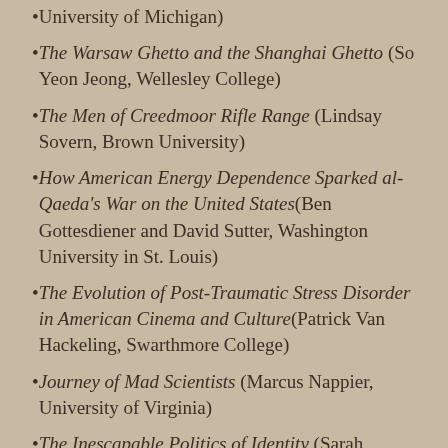University of Michigan) [partial/continuation]
The Warsaw Ghetto and the Shanghai Ghetto (So Yeon Jeong, Wellesley College)
The Men of Creedmoor Rifle Range (Lindsay Sovern, Brown University)
How American Energy Dependence Sparked al-Qaeda's War on the United States(Ben Gottesdiener and David Sutter, Washington University in St. Louis)
The Evolution of Post-Traumatic Stress Disorder in American Cinema and Culture(Patrick Van Hackeling, Swarthmore College)
Journey of Mad Scientists (Marcus Nappier, University of Virginia)
The Inescapable Politics of Identity (Sarah Pauling, University of Michigan)
The Mass Lynching of Italians in 1891 New [partial]